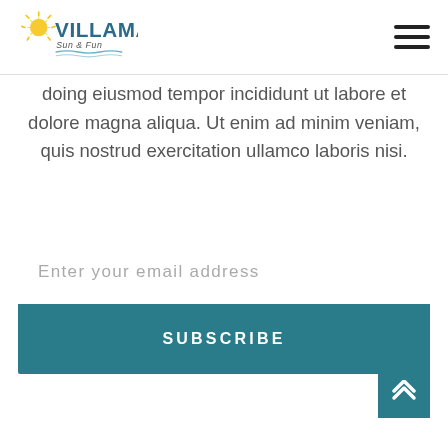VILLAMAR Sun & Fun
doing eiusmod tempor incididunt ut labore et dolore magna aliqua. Ut enim ad minim veniam, quis nostrud exercitation ullamco laboris nisi.
Enter your email address
SUBSCRIBE